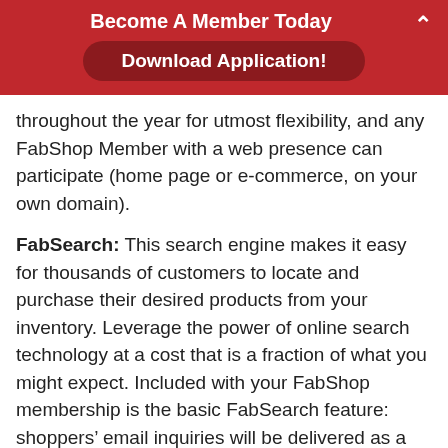Become A Member Today
Download Application!
throughout the year for utmost flexibility, and any FabShop Member with a web presence can participate (home page or e-commerce, on your own domain).
FabSearch: This search engine makes it easy for thousands of customers to locate and purchase their desired products from your inventory. Leverage the power of online search technology at a cost that is a fraction of what you might expect. Included with your FabShop membership is the basic FabSearch feature: shoppers’ email inquiries will be delivered as a daily digest for your personal review and reply. Turbo charge this tool for a fee, and shoppers’ search results will include your products, newsletters, and class information. It’s a scalable tool—take it to the max to boost sales!
BlowOut Sales: FabShop offers four special online events. Our BlowOut Sales connect online shoppers with the